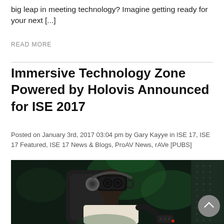big leap in meeting technology? Imagine getting ready for your next [...]
READ MORE
Immersive Technology Zone Powered by Holovis Announced for ISE 2017
Posted on January 3rd, 2017 03:04 pm by Gary Kayye in ISE 17, ISE 17 Featured, ISE 17 News & Blogs, ProAV News, rAVe [PUBS]
[Figure (photo): Person wearing VR headset and headphones seated in a gaming/simulation chair, holding a controller, with green ambient lighting in the background. A scroll-to-top button is visible in the lower right corner.]